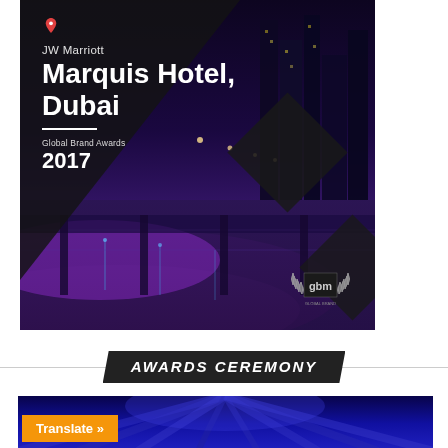[Figure (photo): Nighttime aerial cityscape photo of Dubai with purple-lit highways and skyscrapers. Dark triangle overlay in upper-left with white text. Small geometric diamond decorations. GBM logo badge at bottom-right.]
JW Marriott Marquis Hotel, Dubai
Global Brand Awards 2017
AWARDS CEREMONY
[Figure (photo): Deep blue interior architecture photo with structural ceiling elements lit in blue/purple tones.]
Translate »